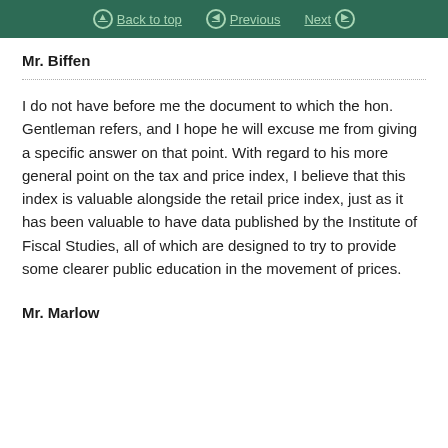Back to top  Previous  Next
Mr. Biffen
I do not have before me the document to which the hon. Gentleman refers, and I hope he will excuse me from giving a specific answer on that point. With regard to his more general point on the tax and price index, I believe that this index is valuable alongside the retail price index, just as it has been valuable to have data published by the Institute of Fiscal Studies, all of which are designed to try to provide some clearer public education in the movement of prices.
Mr. Marlow